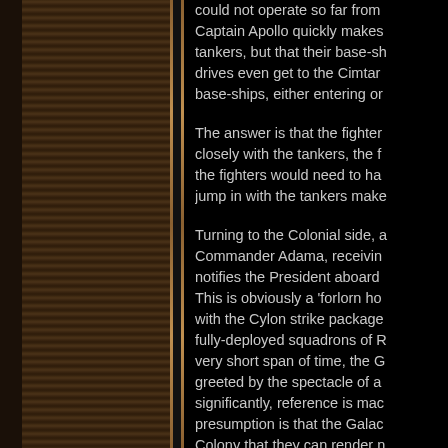[Figure (illustration): Decorative left panel with dark brown textured/hatched panels and thin gold vertical border strips against a black background]
could not operate so far from Captain Apollo quickly makes tankers, but that their base-sh drives even get to the Cimtar base-ships, either entering or

The answer is that the fighter closely with the tankers, the f the fighters would need to ha jump in with the tankers make

Turning to the Colonial side, a Commander Adama, receivin notifies the President aboard This is obviously a 'forlorn ho with the Cylon strike package fully-deployed squadrons of R very short span of time, the G greeted by the spectacle of a significantly, reference is mac presumption is that the Galac Colony that they can render n

With a jump-line FTL drive, th would reveal the exact rotatio binary - and possibly a trinary (astrnomical units). Even if th successfully jumped into the Cimtar as the place to lure the planetary body was close eno